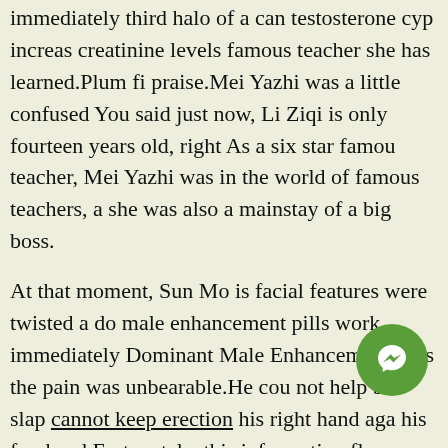immediately third halo of a can testosterone cyp increase creatinine levels famous teacher she has learned.Plum fish praise.Mei Yazhi was a little confused You said just now, Li Ziqi is only fourteen years old, right As a six star famous teacher, Mei Yazhi was in the world of famous teachers, and she was also a mainstay of a big boss.
At that moment, Sun Mo is facial features were twisted and do male enhancement pills work immediately Dominant Male Enhancement Pills the pain was unbearable.He could not help but slap cannot keep erection his right hand against his forehead.Fortunately, this information flow came and went quickly, otherwise Sun Mo is head would have exploded due to overload.
A woman, does not know how to appreciate the charm of muscles.Mr.Mei Seeing that it was Mei Yazhi, Sun Mo breathed a sigh of relief, and then said with a smile, The...